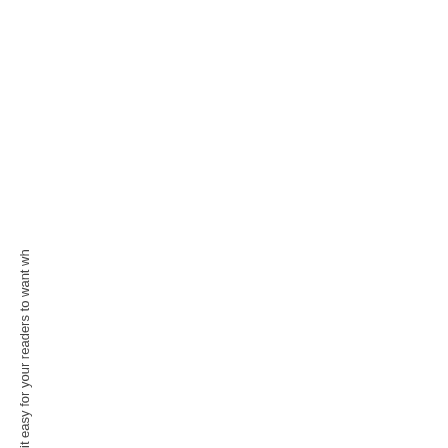it easy for your readers to want wh